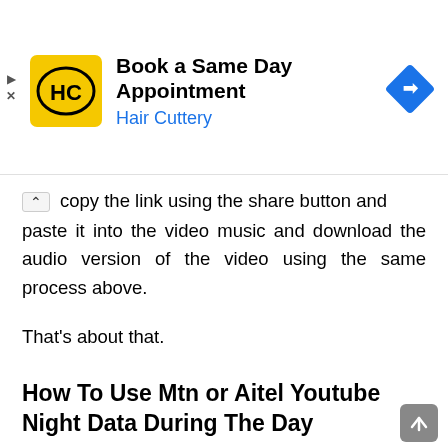[Figure (other): Hair Cuttery advertisement banner: HC logo on yellow background, text 'Book a Same Day Appointment' and 'Hair Cuttery' in blue, blue diamond navigation icon on right]
copy the link using the share button and paste it into the video music and download the audio version of the video using the same process above.
That's about that.
How To Use Mtn or Aitel Youtube Night Data During The Day
Unfortunately, you cant use the mtn youtube night data during the day because is said to be a night data plan which there is not any way that